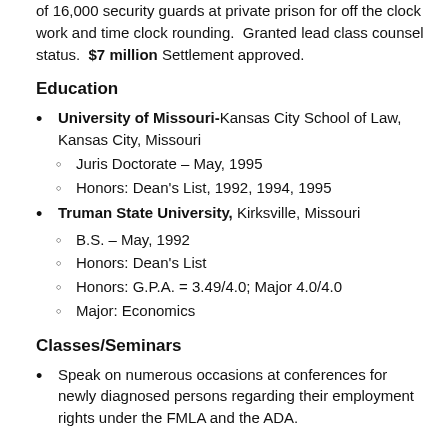of 16,000 security guards at private prison for off the clock work and time clock rounding. Granted lead class counsel status. $7 million Settlement approved.
Education
University of Missouri-Kansas City School of Law, Kansas City, Missouri
Juris Doctorate – May, 1995
Honors: Dean's List, 1992, 1994, 1995
Truman State University, Kirksville, Missouri
B.S. – May, 1992
Honors: Dean's List
Honors: G.P.A. = 3.49/4.0; Major 4.0/4.0
Major: Economics
Classes/Seminars
Speak on numerous occasions at conferences for newly diagnosed persons regarding their employment rights under the FMLA and the ADA.